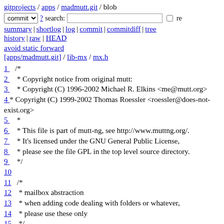gitprojects / apps / madmutt.git / blob
commit ▾ ? search:  □ re
summary | shortlog | log | commit | commitdiff | tree
history | raw | HEAD
avoid static forward
[apps/madmutt.git] / lib-mx / mx.h
1 /*
2  * Copyright notice from original mutt:
3  * Copyright (C) 1996-2002 Michael R. Elkins <me@mutt.org>
4  * Copyright (C) 1999-2002 Thomas Roessler <roessler@does-not-exist.org>
5  *
6  * This file is part of mutt-ng, see http://www.muttng.org/.
7  * It's licensed under the GNU General Public License,
8  * please see the file GPL in the top level source directory.
9  */
10 
11 /*
12  * mailbox abstraction
13  * when adding code dealing with folders or whatever,
14  * please use these only
15  */
16 
17 #ifndef _MX_H